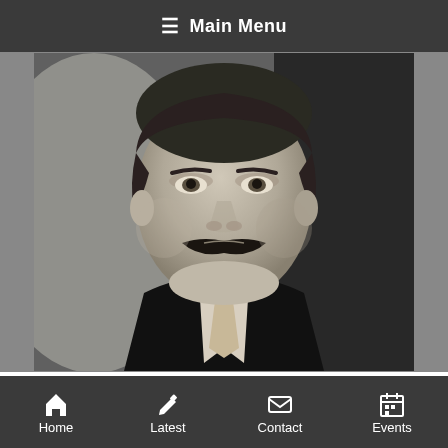≡ Main Menu
[Figure (photo): Black and white portrait photograph of Edwin J Lovegrove, circa 1904. A man with a dark mustache, wearing a dark suit with a light tie, facing slightly upward.]
Edwin J Lovegrove, c.1904
HHS members and readers probably know a
Home  Latest  Contact  Events